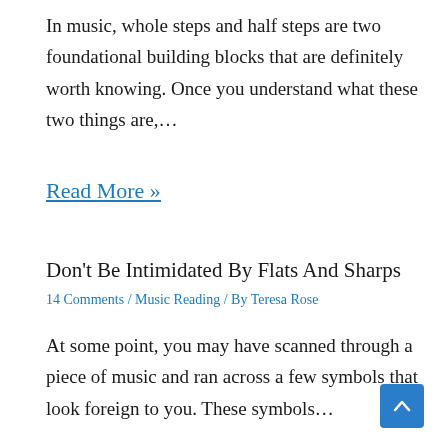In music, whole steps and half steps are two foundational building blocks that are definitely worth knowing. Once you understand what these two things are,…
Read More »
Don't Be Intimidated By Flats And Sharps
14 Comments / Music Reading / By Teresa Rose
At some point, you may have scanned through a piece of music and ran across a few symbols that look foreign to you. These symbols…